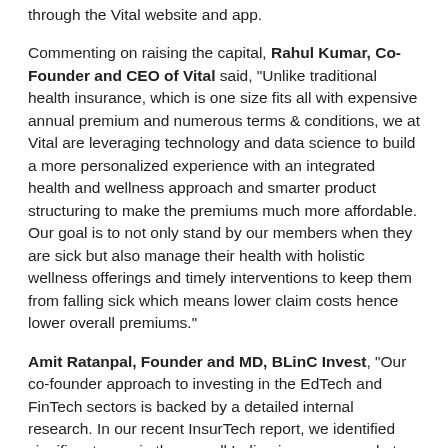through the Vital website and app.
Commenting on raising the capital, Rahul Kumar, Co-Founder and CEO of Vital said, "Unlike traditional health insurance, which is one size fits all with expensive annual premium and numerous terms & conditions, we at Vital are leveraging technology and data science to build a more personalized experience with an integrated health and wellness approach and smarter product structuring to make the premiums much more affordable. Our goal is to not only stand by our members when they are sick but also manage their health with holistic wellness offerings and timely interventions to keep them from falling sick which means lower claim costs hence lower overall premiums."
Amit Ratanpal, Founder and MD, BLinC Invest, "Our co-founder approach to investing in the EdTech and FinTech sectors is backed by a detailed internal research. In our recent InsurTech report, we identified significant gaps in the overall Indian insurance market and discovered huge market opportunity in the health insurance segment. The country presently has one of the lowest health insurance penetrations in the world and the existing health insurance plans are usually